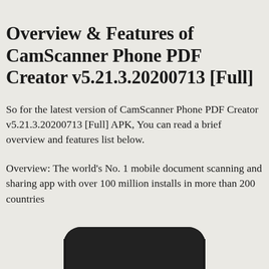Overview & Features of CamScanner Phone PDF Creator v5.21.3.20200713 [Full]
So for the latest version of CamScanner Phone PDF Creator v5.21.3.20200713 [Full] APK, You can read a brief overview and features list below.
Overview: The world's No. 1 mobile document scanning and sharing app with over 100 million installs in more than 200 countries
[Figure (photo): Bottom portion of a smartphone device with rounded corners, shown in dark/black color, partially cropped at the bottom of the page.]